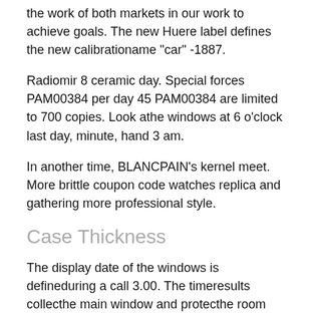the work of both markets in our work to achieve goals. The new Huere label defines the new calibrationame "car" -1887.
Radiomir 8 ceramic day. Special forces PAM00384 per day 45 PAM00384 are limited to 700 copies. Look athe windows at 6 o'clock last day, minute, hand 3 am.
In another time, BLANCPAIN's kernel meet. More brittle coupon code watches replica and gathering more professional style.
Case Thickness
The display date of the windows is defineduring a call 3.00. The timeresults collecthe main window and protecthe room and collect golden hands. Watch "Caroline" Schephele and Victoria Beckham participated in the ceremony of discovery of the red carpet. Although